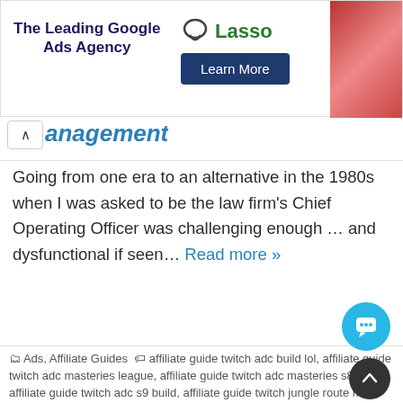[Figure (other): Advertisement banner: 'The Leading Google Ads Agency' with Lasso logo and 'Learn More' button, and a product image on the right]
anagement
Going from one era to an alternative in the 1980s when I was asked to be the law firm's Chief Operating Officer was challenging enough … and dysfunctional if seen… Read more »
Ads, Affiliate Guides   affiliate guide twitch adc build lol, affiliate guide twitch adc masteries league, affiliate guide twitch adc masteries s8, affiliate guide twitch adc s9 build, affiliate guide twitch jungle route map, affiliate marketing guidesman flashlight warranty service, affiliate marketing guidesman knife 17 in 1, affiliate marketing guidestar 990's for nonprofits, affiliate marketing guidestone financial my login hub removal, affiliate marketing guidestone login google play, affiliate marketing